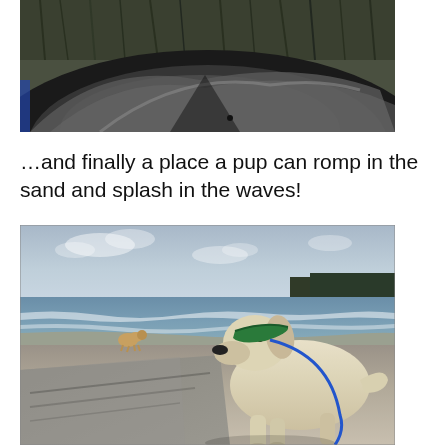[Figure (photo): Partial view of a car roof/windshield from outside, with trees/reeds visible in the background reflection]
…and finally a place a pup can romp in the sand and splash in the waves!
[Figure (photo): A yellow Labrador on a leash sitting on a sandy beach/pavement area, with a small golden dog visible in the background near the water's edge. Blue sky and ocean waves behind them.]